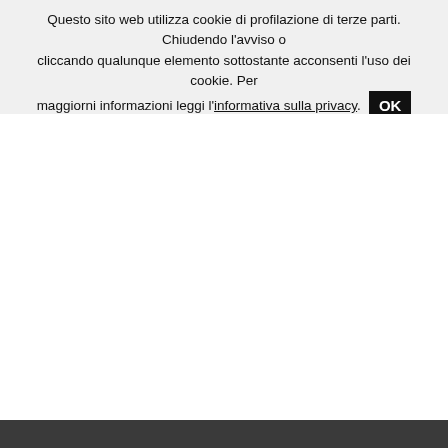Questo sito web utilizza cookie di profilazione di terze parti. Chiudendo l'avviso o cliccando qualunque elemento sottostante acconsenti l'uso dei cookie. Per maggiorni informazioni leggi l'informativa sulla privacy. OK